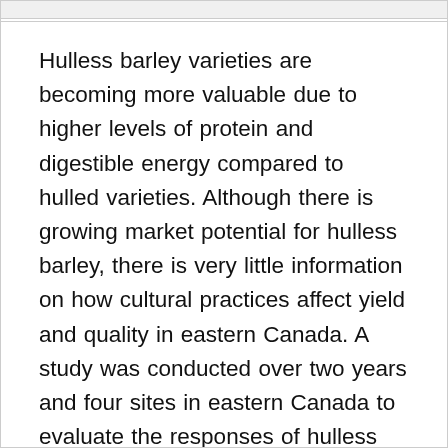Hulless barley varieties are becoming more valuable due to higher levels of protein and digestible energy compared to hulled varieties. Although there is growing market potential for hulless barley, there is very little information on how cultural practices affect yield and quality in eastern Canada. A study was conducted over two years and four sites in eastern Canada to evaluate the responses of hulless and hulled barley varieties to various seeding rates. There were